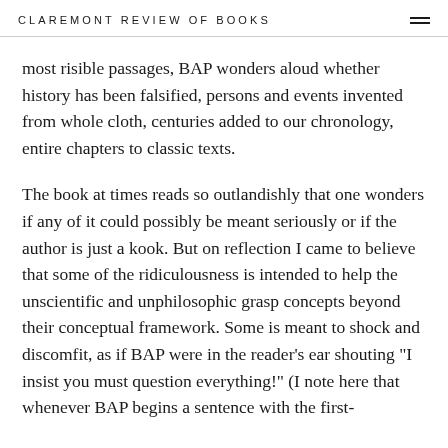CLAREMONT REVIEW OF BOOKS
most risible passages, BAP wonders aloud whether history has been falsified, persons and events invented from whole cloth, centuries added to our chronology, entire chapters to classic texts.
The book at times reads so outlandishly that one wonders if any of it could possibly be meant seriously or if the author is just a kook. But on reflection I came to believe that some of the ridiculousness is intended to help the unscientific and unphilosophic grasp concepts beyond their conceptual framework. Some is meant to shock and discomfit, as if BAP were in the reader's ear shouting "I insist you must question everything!" (I note here that whenever BAP begins a sentence with the first-